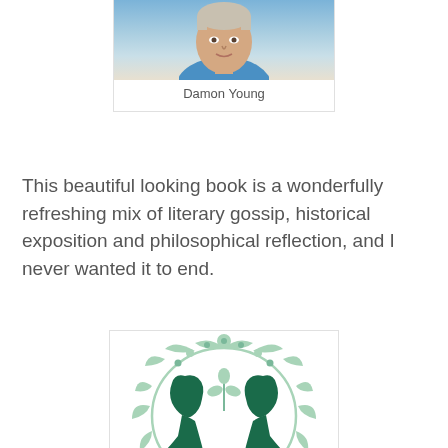[Figure (photo): Photo of author Damon Young, a man wearing a blue shirt, cropped to show face and upper body]
Damon Young
This beautiful looking book is a wonderfully refreshing mix of literary gossip, historical exposition and philosophical reflection, and I never wanted it to end.
[Figure (illustration): Book cover of 'Philosophy in the Garden' featuring two silhouettes facing each other framed by ornate floral/botanical designs in green and white, with a brown banner ribbon bearing the title text]